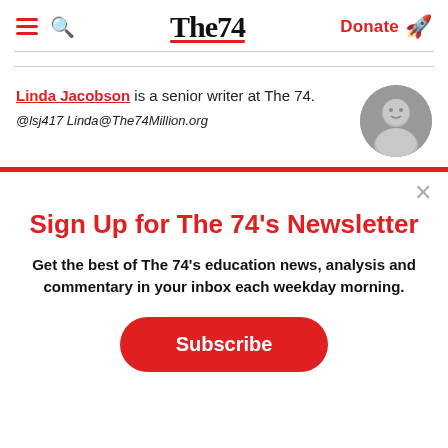The74 — Donate
Linda Jacobson is a senior writer at The 74.
@lsj417 Linda@The74Million.org
[Figure (photo): Circular black and white headshot photo of Linda Jacobson]
Sign Up for The 74's Newsletter
Get the best of The 74's education news, analysis and commentary in your inbox each weekday morning.
Subscribe